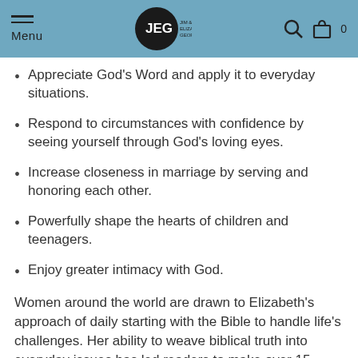Menu | JEG Jim & Elizabeth George logo | search icon | bag icon 0
Appreciate God's Word and apply it to everyday situations.
Respond to circumstances with confidence by seeing yourself through God's loving eyes.
Increase closeness in marriage by serving and honoring each other.
Powerfully shape the hearts of children and teenagers.
Enjoy greater intimacy with God.
Women around the world are drawn to Elizabeth's approach of daily starting with the Bible to handle life's challenges. Her ability to weave biblical truth into everyday issues has led readers to make over 15